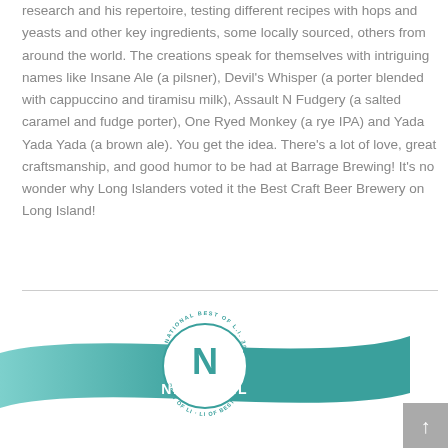research and his repertoire, testing different recipes with hops and yeasts and other key ingredients, some locally sourced, others from around the world. The creations speak for themselves with intriguing names like Insane Ale (a pilsner), Devil's Whisper (a porter blended with cappuccino and tiramisu milk), Assault N Fudgery (a salted caramel and fudge porter), One Ryed Monkey (a rye IPA) and Yada Yada Yada (a brown ale). You get the idea. There's a lot of love, great craftsmanship, and good humor to be had at Barrage Brewing! It's no wonder why Long Islanders voted it the Best Craft Beer Brewery on Long Island!
[Figure (logo): National Best of LI logo — teal circular badge with large N and the word NATIONAL, over a teal curved banner ribbon]